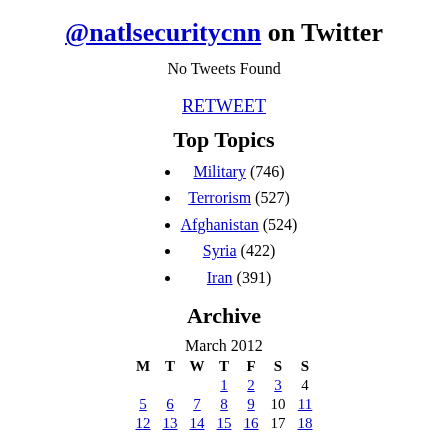@natlsecuritycnn on Twitter
No Tweets Found
RETWEET
Top Topics
Military (746)
Terrorism (527)
Afghanistan (524)
Syria (422)
Iran (391)
Archive
March 2012
| M | T | W | T | F | S | S |
| --- | --- | --- | --- | --- | --- | --- |
|  |  |  | 1 | 2 | 3 | 4 |
| 5 | 6 | 7 | 8 | 9 | 10 | 11 |
| 12 | 13 | 14 | 15 | 16 | 17 | 18 |